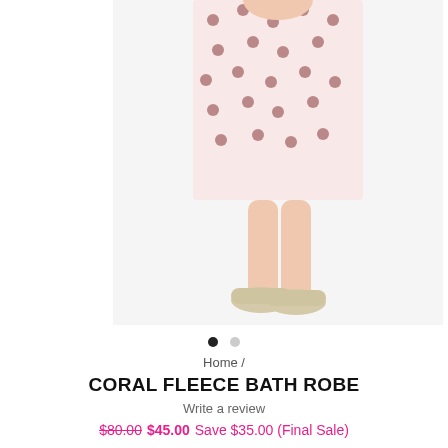[Figure (photo): Product photo showing lower half of a model wearing a pink polka dot bath robe/dress and cream-colored slippers, against a white background.]
Home /
CORAL FLEECE BATH ROBE
Write a review
$80.00  $45.00  Save $35.00 (Final Sale)